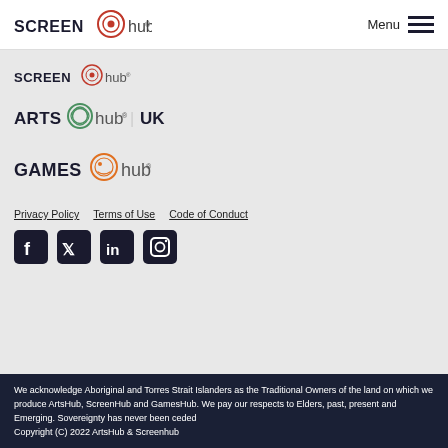ScreenHub | Menu
[Figure (logo): ScreenHub logo (small)]
[Figure (logo): ArtsHub UK logo]
[Figure (logo): GamesHub logo]
Privacy Policy   Terms of Use   Code of Conduct
[Figure (infographic): Social media icons: Facebook, Twitter, LinkedIn, Instagram]
We acknowledge Aboriginal and Torres Strait Islanders as the Traditional Owners of the land on which we produce ArtsHub, ScreenHub and GamesHub. We pay our respects to Elders, past, present and Emerging. Sovereignty has never been ceded Copyright (C) 2022 ArtsHub & Screenhub